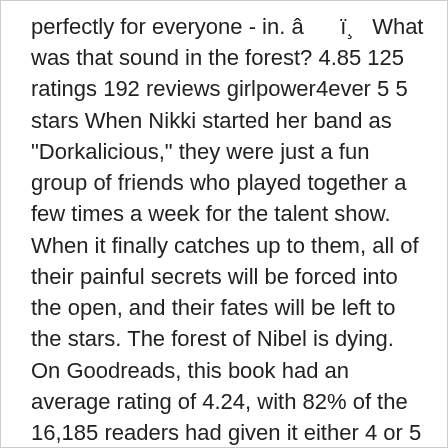perfectly for everyone - in. â ï¸ What was that sound in the forest? 4.85 125 ratings 192 reviews girlpower4ever 5 5 stars When Nikki started her band as "Dorkalicious," they were just a fun group of friends who played together a few times a week for the talent show. When it finally catches up to them, all of their painful secrets will be forced into the open, and their fates will be left to the stars. The forest of Nibel is dying. On Goodreads, this book had an average rating of 4.24, with 82% of the 16,185 readers had given it either 4 or 5 stars. ; Where to Find Ratings Whether online or in-store, here is where you can find our ratings. Mark Kermode's film of the week Possessor review – mind-and-body-snatching thrills from Brandon Cronenberg 4 out of 5 stars. Get The Wall Street Journalâ s Opinion columnists, editorials, op-eds, letters to the editor,